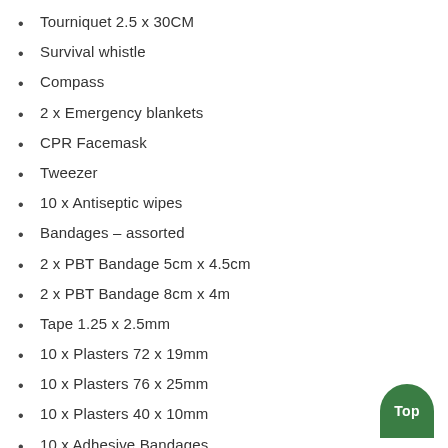Tourniquet 2.5 x 30CM
Survival whistle
Compass
2 x Emergency blankets
CPR Facemask
Tweezer
10 x Antiseptic wipes
Bandages – assorted
2 x PBT Bandage 5cm x 4.5cm
2 x PBT Bandage 8cm x 4m
Tape 1.25 x 2.5mm
10 x Plasters 72 x 19mm
10 x Plasters 76 x 25mm
10 x Plasters 40 x 10mm
10 x Adhesive Bandages
4 x Disposable raincoats
4 x Rubber gloves
1 Mouth to mouth mask
1 hot/cold pack
1 Fire starter tool
1 Wire saw